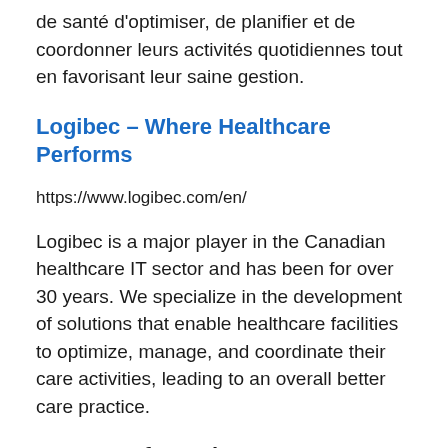de santé d'optimiser, de planifier et de coordonner leurs activités quotidiennes tout en favorisant leur saine gestion.
Logibec – Where Healthcare Performs
https://www.logibec.com/en/
Logibec is a major player in the Canadian healthcare IT sector and has been for over 30 years. We specialize in the development of solutions that enable healthcare facilities to optimize, manage, and coordinate their care activities, leading to an overall better care practice.
Contact Information